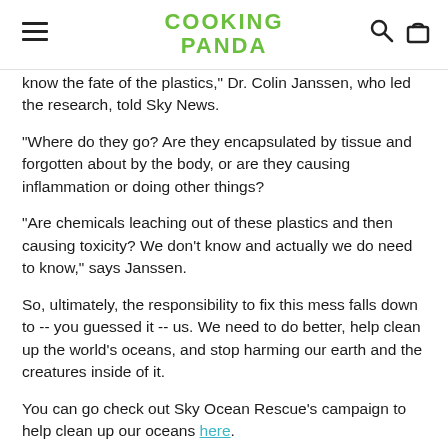COOKING PANDA
know the fate of the plastics," Dr. Colin Janssen, who led the research, told Sky News.
"Where do they go? Are they encapsulated by tissue and forgotten about by the body, or are they causing inflammation or doing other things?
"Are chemicals leaching out of these plastics and then causing toxicity? We don't know and actually we do need to know," says Janssen.
So, ultimately, the responsibility to fix this mess falls down to -- you guessed it -- us. We need to do better, help clean up the world's oceans, and stop harming our earth and the creatures inside of it.
You can go check out Sky Ocean Rescue's campaign to help clean up our oceans here.